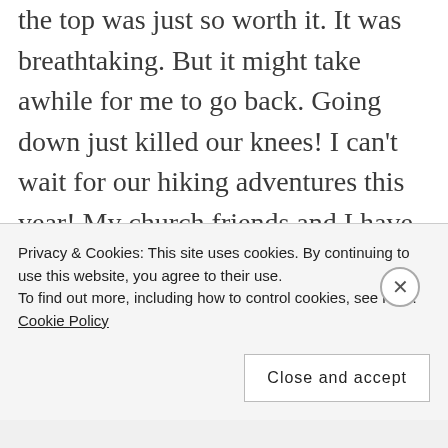the top was just so worth it. It was breathtaking. But it might take awhile for me to go back. Going down just killed our knees! I can't wait for our hiking adventures this year! My church friends and I have been starting to plan for it already.
Speaking of church, it's been an amazing journey as well for the church planting movement of CCF Vancouver that I am so privileged to be a part of. A lot of relationship building, ministries slowly growing and the most exciting is we are moving
Privacy & Cookies: This site uses cookies. By continuing to use this website, you agree to their use.
To find out more, including how to control cookies, see here: Cookie Policy
Close and accept